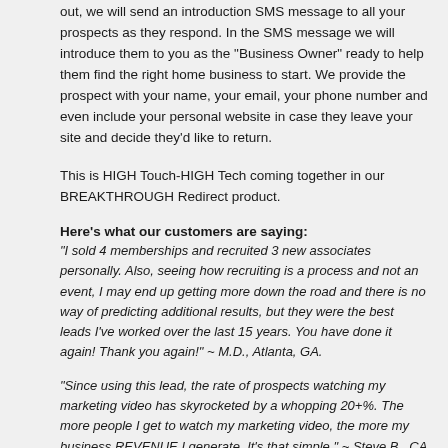out, we will send an introduction SMS message to all your prospects as they respond. In the SMS message we will introduce them to you as the "Business Owner" ready to help them find the right home business to start. We provide the prospect with your name, your email, your phone number and even include your personal website in case they leave your site and decide they'd like to return.
This is HIGH Touch-HIGH Tech coming together in our BREAKTHROUGH Redirect product.
Here's what our customers are saying:
"I sold 4 memberships and recruited 3 new associates personally. Also, seeing how recruiting is a process and not an event, I may end up getting more down the road and there is no way of predicting additional results, but they were the best leads I've worked over the last 15 years. You have done it again! Thank you again!" ~ M.D., Atlanta, GA.
"Since using this lead, the rate of prospects watching my marketing video has skyrocketed by a whopping 20+%. The more people I get to watch my marketing video, the more my business REVENUE I generate. It's that simple." ~ Steve B., CA
Adding Live Redirect Leads To Your